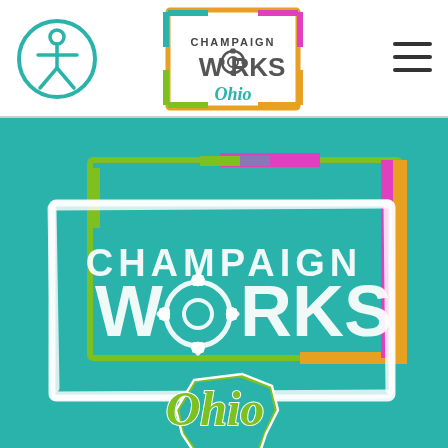[Figure (logo): Accessibility icon: circle with stick figure person, teal outline]
[Figure (logo): Champaign Works Ohio logo: rectangular frame in teal/green/orange/pink with gear O, text CHAMPAIGN WORKS and Ohio script]
[Figure (logo): Hamburger menu icon (three horizontal lines)]
[Figure (illustration): Large Champaign Works Ohio hero logo on teal background: layered rectangles in green, pink, orange with white brushstroke border, CHAMPAIGN WORKS text with gear replacing O, Ohio script with state shape in green/teal]